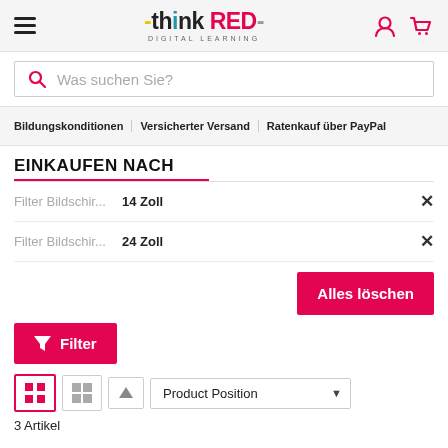thinkRED DIGITAL LEARNING
Was suchen Sie?
Bildungskonditionen   Versicherter Versand   Ratenkauf über PayPal
EINKAUFEN NACH
Filter Bildschir...   14 Zoll
Filter Bildschir...   24 Zoll
Alles löschen
Filter
Product Position
3 Artikel